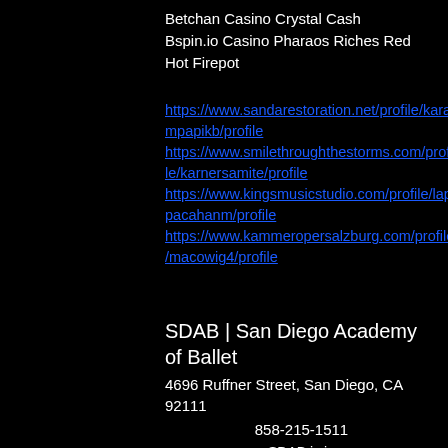Betchan Casino Crystal Cash
Bspin.io Casino Pharaos Riches Red Hot Firepot
https://www.sandarestoration.net/profile/karampapikb/profile
https://www.smilethroughthestorms.com/profile/karnersamite/profile
https://www.kingsmusicstudio.com/profile/lappacahanm/profile
https://www.kammeropersalzburg.com/profile/macowig4/profile
SDAB | San Diego Academy of Ballet
4696 Ruffner Street, San Diego, CA 92111
858-215-1511
SDAB is in process of updating its